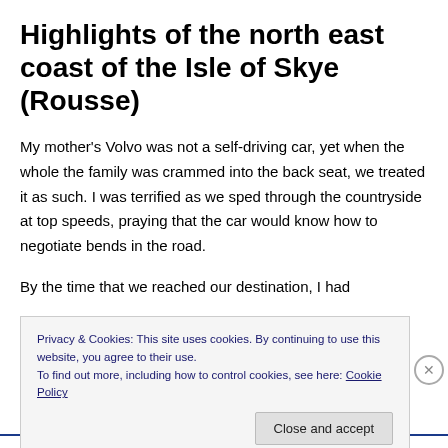Highlights of the north east coast of the Isle of Skye (Rousse)
My mother's Volvo was not a self-driving car, yet when the whole the family was crammed into the back seat, we treated it as such. I was terrified as we sped through the countryside at top speeds, praying that the car would know how to negotiate bends in the road.
By the time that we reached our destination, I had
Privacy & Cookies: This site uses cookies. By continuing to use this website, you agree to their use.
To find out more, including how to control cookies, see here: Cookie Policy